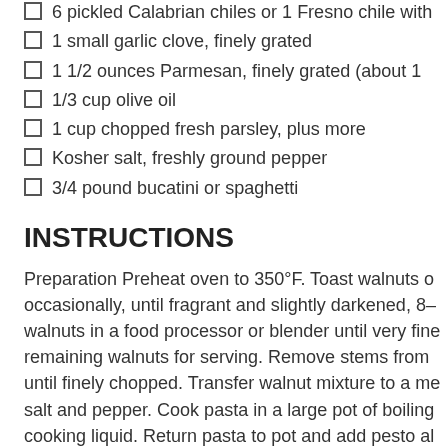6 pickled Calabrian chiles or 1 Fresno chile with
1 small garlic clove, finely grated
1 1/2 ounces Parmesan, finely grated (about 1
1/3 cup olive oil
1 cup chopped fresh parsley, plus more
Kosher salt, freshly ground pepper
3/4 pound bucatini or spaghetti
INSTRUCTIONS
Preparation Preheat oven to 350°F. Toast walnuts occasionally, until fragrant and slightly darkened, 8– walnuts in a food processor or blender until very fine remaining walnuts for serving. Remove stems from until finely chopped. Transfer walnut mixture to a me salt and pepper. Cook pasta in a large pot of boiling cooking liquid. Return pasta to pot and add pesto al needed, until pesto coats pasta and sauce is glossy top with walnuts and more parsley. Do Ahead Pesto